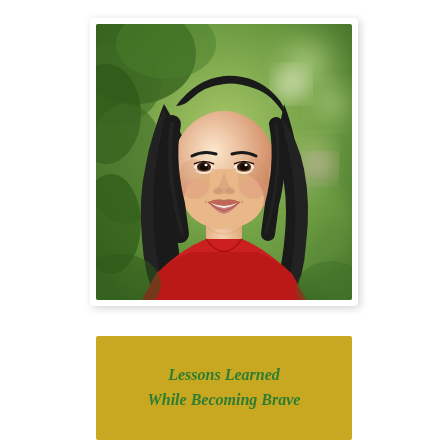[Figure (photo): Portrait photo of a smiling Asian woman with long dark hair, wearing a red top, posed in front of a blurred green garden background with soft bokeh lighting. Photo is presented with a white border and slight shadow, resembling a printed photograph.]
Lessons Learned While Becoming Brave